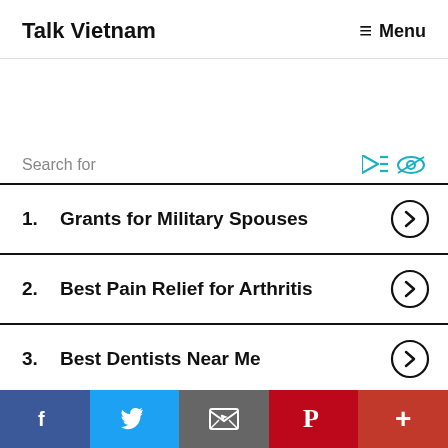Talk Vietnam   ≡ Menu
Search for
1. Grants for Military Spouses
2. Best Pain Relief for Arthritis
3. Best Dentists Near Me
4. 5 Stocks to Buy Now
5. Medicare Plan B Cost
Transport sector
f  Twitter  Email  Pinterest  +